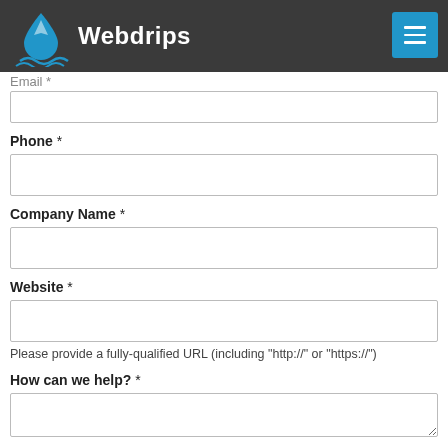[Figure (logo): Webdrips logo with blue water drop and waves, white text on dark background header]
Email *
Phone *
Company Name *
Website *
Please provide a fully-qualified URL (including "http://" or "https://")
How can we help? *